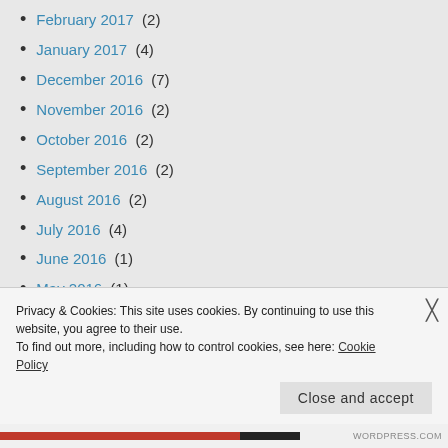February 2017 (2)
January 2017 (4)
December 2016 (7)
November 2016 (2)
October 2016 (2)
September 2016 (2)
August 2016 (2)
July 2016 (4)
June 2016 (1)
May 2016 (1)
February 2016 (1)
Privacy & Cookies: This site uses cookies. By continuing to use this website, you agree to their use. To find out more, including how to control cookies, see here: Cookie Policy
Close and accept